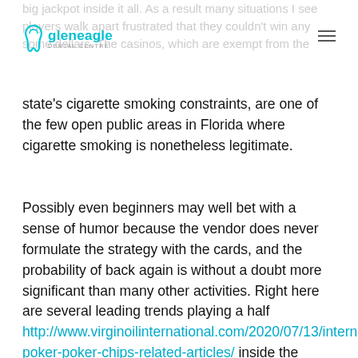big jackpot inside it all. As a result many situations I see players walk apart frustrated that they couldn't win any some dollars. The casinos, which are exempt from the
[Figure (logo): Gleneagle dental logo with tooth icon in cyan/teal color, text 'gleneagle' in cyan and subtitle 'DENTAL CENTRE' below]
state's cigarette smoking constraints, are one of the few open public areas in Florida where cigarette smoking is nonetheless legitimate.
Possibly even beginners may well bet with a sense of humor because the vendor does never formulate the strategy with the cards, and the probability of back again is without a doubt more significant than many other activities. Right here are several leading trends playing a half http://www.virginoilinternational.com/2020/07/13/internet-poker-poker-chips-related-articles/ inside the progress of the gaming industry inside 2020. After you have favorite the video game, in that case you have to give the funds for the pan limitation and will have the